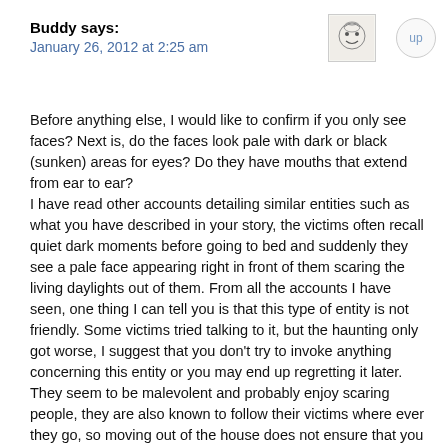Buddy says:
January 26, 2012 at 2:25 am
[Figure (illustration): Small avatar illustration of a cartoon character face in a square border]
up
Before anything else, I would like to confirm if you only see faces? Next is, do the faces look pale with dark or black (sunken) areas for eyes? Do they have mouths that extend from ear to ear?
I have read other accounts detailing similar entities such as what you have described in your story, the victims often recall quiet dark moments before going to bed and suddenly they see a pale face appearing right in front of them scaring the living daylights out of them. From all the accounts I have seen, one thing I can tell you is that this type of entity is not friendly. Some victims tried talking to it, but the haunting only got worse, I suggest that you don't try to invoke anything concerning this entity or you may end up regretting it later. They seem to be malevolent and probably enjoy scaring people, they are also known to follow their victims where ever they go, so moving out of the house does not ensure that you are rid of it, it is possible that it also follows their victims t